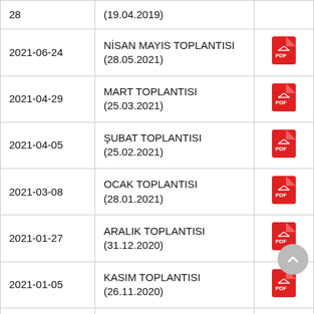| Date | Title | File |
| --- | --- | --- |
| 28 | (19.04.2019) |  |
| 2021-06-24 | NİSAN MAYIS TOPLANTISI (28.05.2021) | PDF |
| 2021-04-29 | MART TOPLANTISI (25.03.2021) | PDF |
| 2021-04-05 | ŞUBAT TOPLANTISI (25.02.2021) | PDF |
| 2021-03-08 | OCAK TOPLANTISI (28.01.2021) | PDF |
| 2021-01-27 | ARALIK TOPLANTISI (31.12.2020) | PDF |
| 2021-01-05 | KASIM TOPLANTISI (26.11.2020) | PDF |
| 2020-12-16 | EKİM TOPLANTISI (28.10.2020) | PDF |